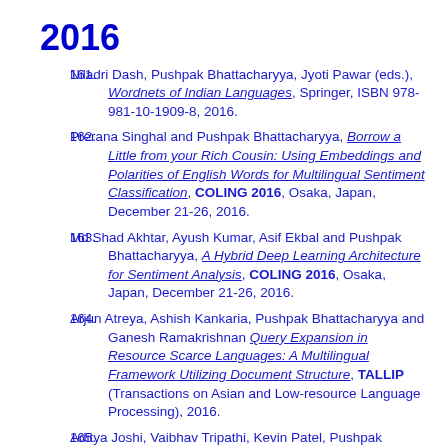2016
161. Niladri Dash, Pushpak Bhattacharyya, Jyoti Pawar (eds.), Wordnets of Indian Languages, Springer, ISBN 978-981-10-1909-8, 2016.
162. Prerana Singhal and Pushpak Bhattacharyya, Borrow a Little from your Rich Cousin: Using Embeddings and Polarities of English Words for Multilingual Sentiment Classification, COLING 2016, Osaka, Japan, December 21-26, 2016.
163. Md Shad Akhtar, Ayush Kumar, Asif Ekbal and Pushpak Bhattacharyya, A Hybrid Deep Learning Architecture for Sentiment Analysis, COLING 2016, Osaka, Japan, December 21-26, 2016.
164. Arjun Atreya, Ashish Kankaria, Pushpak Bhattacharyya and Ganesh Ramakrishnan Query Expansion in Resource Scarce Languages: A Multilingual Framework Utilizing Document Structure, TALLIP (Transactions on Asian and Low-resource Language Processing), 2016.
165. Aditya Joshi, Vaibhav Tripathi, Kevin Patel, Pushpak Bhattacharyya and Mark Carman, Are Word Embedding-based Features Useful for Sarcasm Detection?, EMNLP 2016, Austin, Texas, USA, November 1-5, 2016.
166. Anoop Kunchukuttan and Pushpak Bhattacharyya, Orthographic Syllable as basis unit for SMT between...